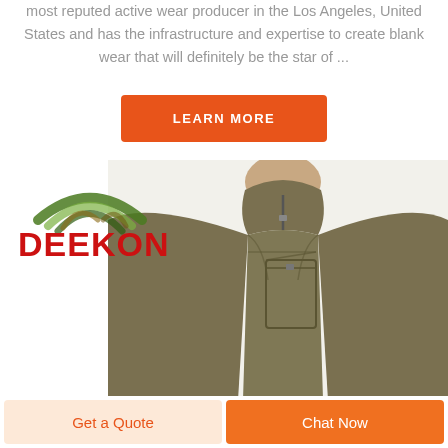most reputed active wear producer in the Los Angeles, United States and has the infrastructure and expertise to create blank wear that will definitely be the star of ...
LEARN MORE
[Figure (photo): DEEKON logo (red text with camouflage arc symbol) and a product photo of a man wearing an olive/khaki fleece quarter-zip pullover with a chest pocket]
Get a Quote
Chat Now